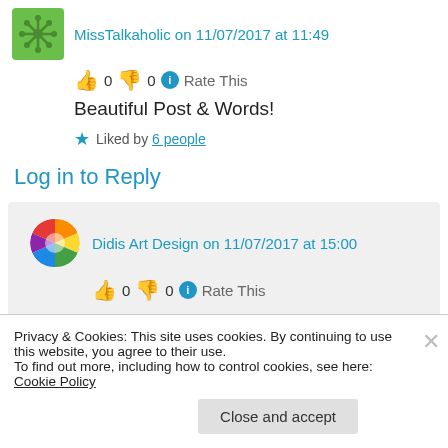MissTalkaholic on 11/07/2017 at 11:49
👍 0 👎 0 ℹ Rate This
Beautiful Post & Words!
★ Liked by 6 people
Log in to Reply
Didis Art Design on 11/07/2017 at 15:00
👍 0 👎 0 ℹ Rate This
Privacy & Cookies: This site uses cookies. By continuing to use this website, you agree to their use.
To find out more, including how to control cookies, see here: Cookie Policy
Close and accept